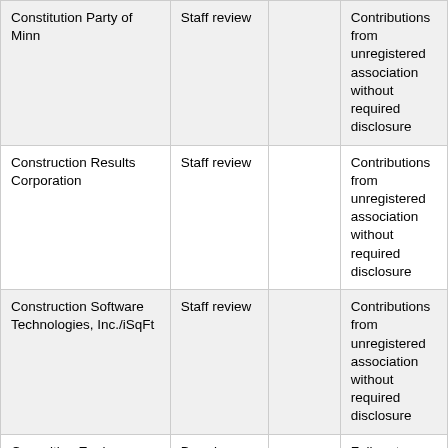| Constitution Party of Minn | Staff review |  | Contributions from unregistered association without required disclosure |
| Construction Results Corporation | Staff review |  | Contributions from unregistered association without required disclosure |
| Construction Software Technologies, Inc./iSqFt | Staff review |  | Contributions from unregistered association without required disclosure |
| Consulting Engineers Citizens Fund | Board investigation |  | Failure to register; failure to file campaign finance re... |